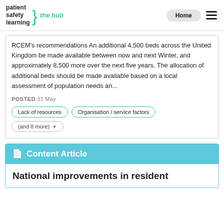patient safety learning | the hub | Home
RCEM's recommendations An additional 4,500 beds across the United Kingdom be made available between now and next Winter, and approximately 8,500 more over the next five years. The allocation of additional beds should be made available based on a local assessment of population needs an...
POSTED 31 May
Lack of resources
Organisation / service factors
(and 8 more)
Content Article
National improvements in resident